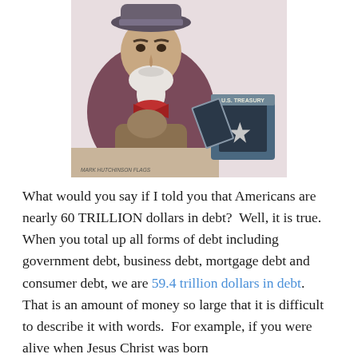[Figure (illustration): Vintage illustration of Uncle Sam, a grumpy old man with white beard and hat, resting his chin on his hand, sitting at a table with an empty U.S. Treasury safe beside him. Caption reads 'MARK HUTCHINSON FLAGS' at the bottom left.]
What would you say if I told you that Americans are nearly 60 TRILLION dollars in debt?  Well, it is true.  When you total up all forms of debt including government debt, business debt, mortgage debt and consumer debt, we are 59.4 trillion dollars in debt.  That is an amount of money so large that it is difficult to describe it with words.  For example, if you were alive when Jesus Christ was born